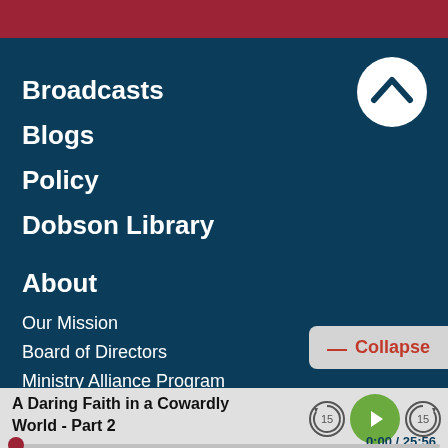Broadcasts
Blogs
Policy
Dobson Library
About
Our Mission
Board of Directors
Ministry Alliance Program
Careers
— Collapse
A Daring Faith in a Cowardly World - Part 2
0:00 / 25:56